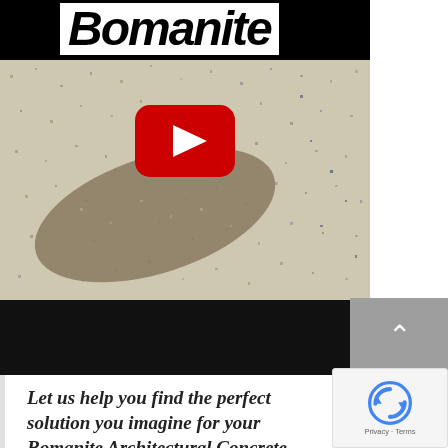[Figure (screenshot): YouTube video thumbnail showing a Bomanite architectural concrete surface with a decorative oval inlay pattern. The top portion has the Bomanite logo in bold black text on white background, overlaid on a black bar. The concrete surface shows a speckled beige/cream texture with a brown/tan oval elliptical inlay design. A YouTube play button (red circle with white triangle) is overlaid in the center. Below the thumbnail image is a solid black bar. A gray scroll-up button with a caret/chevron appears at the right side.]
Let us help you find the perfect solution you imagine for your Bomanite Architectural Concrete